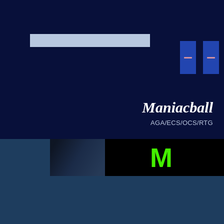[Figure (screenshot): Dark navy blue background with a light blue/grey search bar rectangle on the left and two small blue button/icon elements on the right, resembling a software UI interface for a game called Maniacball]
Maniacball
AGA/ECS/OCS/RTG
[Figure (screenshot): Game banner strip showing a black background with a large bright green letter M logo in the center, and partial game imagery on the left and right edges]